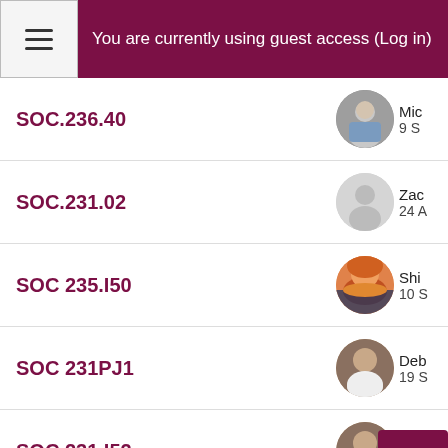You are currently using guest access (Log in)
SOC.236.40
SOC.231.02
SOC 235.I50
SOC 231PJ1
SOC 231.I52
SOC 231.81 F'15
SOC 231.42